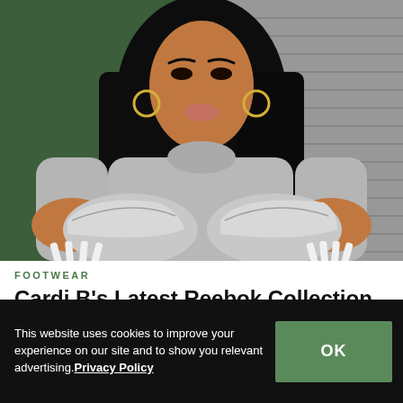[Figure (photo): A woman with long black hair wearing a gray ribbed turtleneck top holds two silver metallic chunky sneakers (Reebok). She has long white acrylic nails. The background shows green walls and metal shelving/shutters.]
FOOTWEAR
Cardi B's Latest Reebok Collection is Inspired by NYC Nights
This website uses cookies to improve your experience on our site and to show you relevant advertising. Privacy Policy